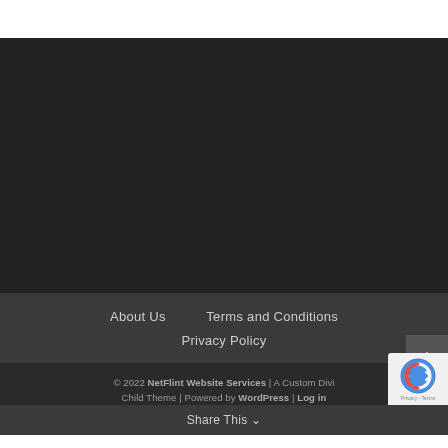[Figure (other): Dark background area (website content area, mostly empty/dark)]
About Us
Terms and Conditions
Privacy Policy
© 2022 NetFlint Website Services | A Custom Divi Child Theme | Powered by WordPress | Log in
Share This